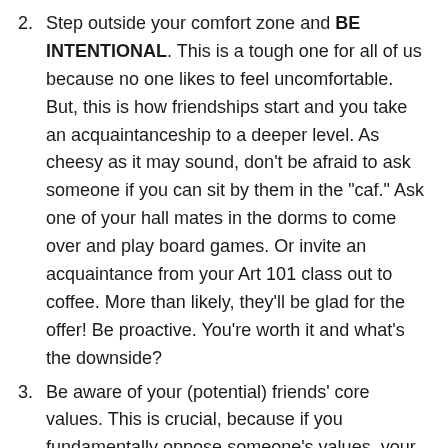Step outside your comfort zone and BE INTENTIONAL. This is a tough one for all of us because no one likes to feel uncomfortable. But, this is how friendships start and you take an acquaintanceship to a deeper level. As cheesy as it may sound, don't be afraid to ask someone if you can sit by them in the "caf." Ask one of your hall mates in the dorms to come over and play board games. Or invite an acquaintance from your Art 101 class out to coffee. More than likely, they'll be glad for the offer! Be proactive. You're worth it and what's the downside?
Be aware of your (potential) friends' core values. This is crucial, because if you fundamentally oppose someone's values, your friendship won't be fit for the long term. If you want to do a self-check on the values that are most important to you, you can use this free